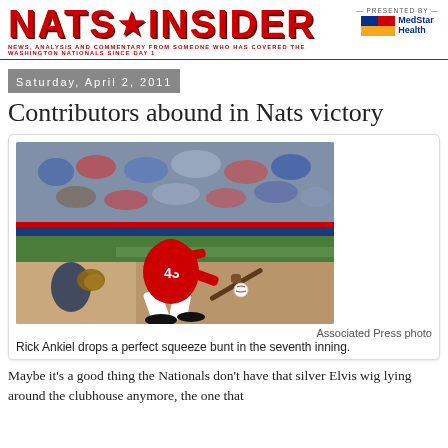NATS★INSIDER — NEWS, ANALYSIS AND COMMENTARY FROM SOMEONE WHO HAS COVERED THE WASHINGTON NATIONALS SINCE DAY 1
Saturday, April 2, 2011
Contributors abound in Nats victory
[Figure (photo): Baseball player wearing jersey number 43 in red Washington Nationals uniform executing a bunt, crouching low with bat extended, ball visible near bat, opponent's catcher glove visible at left, stadium crowd in background]
Associated Press photo
Rick Ankiel drops a perfect squeeze bunt in the seventh inning.
Maybe it's a good thing the Nationals don't have that silver Elvis wig lying around the clubhouse anymore, the one that